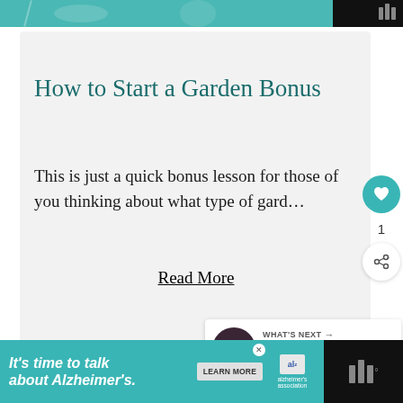[Figure (illustration): Partial teal banner at top of page with decorative illustration elements]
How to Start a Garden Bonus
This is just a quick bonus lesson for those of you thinking about what type of gard…
Read More
[Figure (infographic): What's Next callout showing thumbnail and text 'The Best Gardening...']
[Figure (infographic): Advertisement banner: It's time to talk about Alzheimer's. Learn More. Alzheimer's Association logo.]